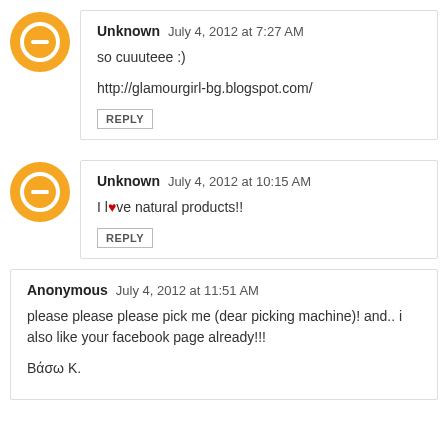Unknown July 4, 2012 at 7:27 AM
so cuuuteee :)
http://glamourgirl-bg.blogspot.com/
REPLY
Unknown July 4, 2012 at 10:15 AM
I l♥ve natural products!!
REPLY
Anonymous July 4, 2012 at 11:51 AM
please please please pick me (dear picking machine)! and.. i also like your facebook page already!!!
Βάσω Κ.